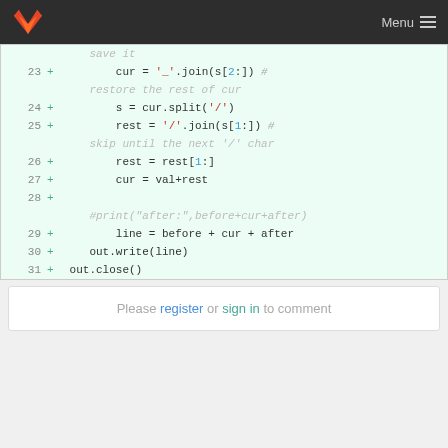GitLab navigation with logo and Menu
[Figure (screenshot): Code diff view showing lines 23-31 of a Python script with added lines marked with '+' on a light green background]
Please register or sign in to comment